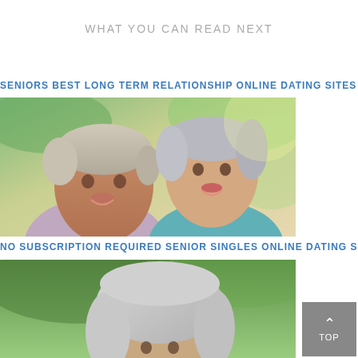WHAT YOU CAN READ NEXT
SENIORS BEST LONG TERM RELATIONSHIP ONLINE DATING SITES
[Figure (photo): Smiling senior couple outdoors, man and woman with grey hair, woman wearing teal top]
NO SUBSCRIPTION REQUIRED SENIOR SINGLES ONLINE DATING SITES
[Figure (photo): Elderly woman with grey hair photographed outdoors with greenery in background]